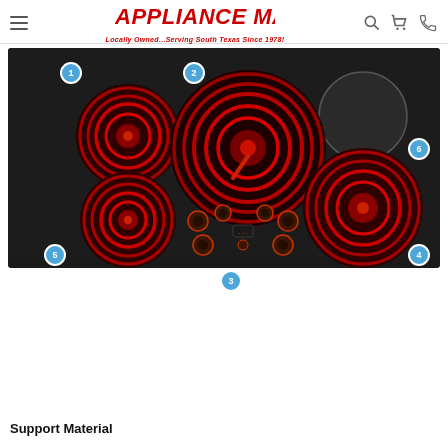Appliance Mart — Locally Owned...Serving South Texas Since 1978!
[Figure (photo): Black electric cooktop with 5 radiant burners (4 standard, 1 large center) and control knobs, with numbered callouts 1-6 indicating different zones/parts.]
Support Material